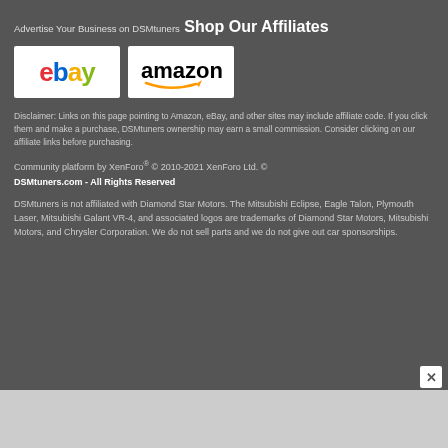Advertise Your Business on DSMtuners
Shop Our Affiliates
[Figure (logo): eBay logo in white box]
[Figure (logo): Amazon logo in white box]
Disclaimer: Links on this page pointing to Amazon, eBay, and other sites may include affiliate code. If you click them and make a purchase, DSMtuners ownership may earn a small commission. Consider clicking on our affiliate links before purchasing.
Community platform by XenForo® © 2010-2021 XenForo Ltd. © DSMtuners.com - All Rights Reserved
DSMtuners is not affiliated with Diamond Star Motors. The Mitsubishi Eclipse, Eagle Talon, Plymouth Laser, Mitsubishi Galant VR-4, and associated logos are trademarks of Diamond Star Motors, Mitsubishi Motors, and Chrysler Corporation. We do not sell parts and we do not give out car sponsorships.